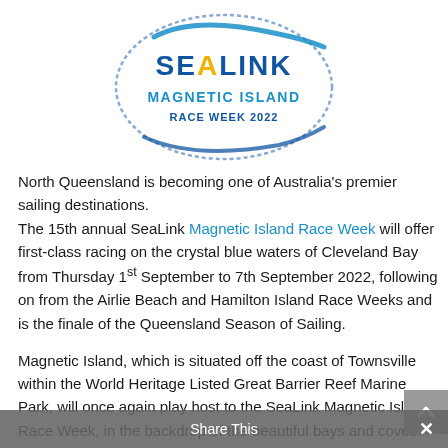[Figure (logo): SeaLink Magnetic Island Race Week 2022 circular logo in blue with brush stroke styling and yellow accent on the 'A' in SEALINK]
North Queensland is becoming one of Australia's premier sailing destinations. The 15th annual SeaLink Magnetic Island Race Week will offer first-class racing on the crystal blue waters of Cleveland Bay from Thursday 1st September to 7th September 2022, following on from the Airlie Beach and Hamilton Island Race Weeks and is the finale of the Queensland Season of Sailing.
Magnetic Island, which is situated off the coast of Townsville within the World Heritage Listed Great Barrier Reef Marine Park, will once again play host to the SeaLink Magnetic Island Race Week, in the backdrop of the beautiful bays and coves...